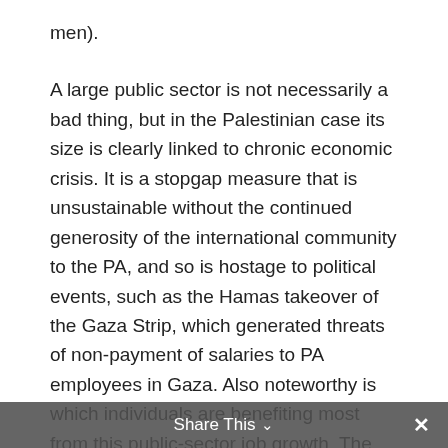men).
A large public sector is not necessarily a bad thing, but in the Palestinian case its size is clearly linked to chronic economic crisis. It is a stopgap measure that is unsustainable without the continued generosity of the international community to the PA, and so is hostage to political events, such as the Hamas takeover of the Gaza Strip, which generated threats of non-payment of salaries to PA employees in Gaza. Also noteworthy is which individuals are benefiting most from this public-sector job growth. The average education level in the fields of education and public administration is 14.6 and 12 years, respectively, suggesting that
Share This ∨  ×